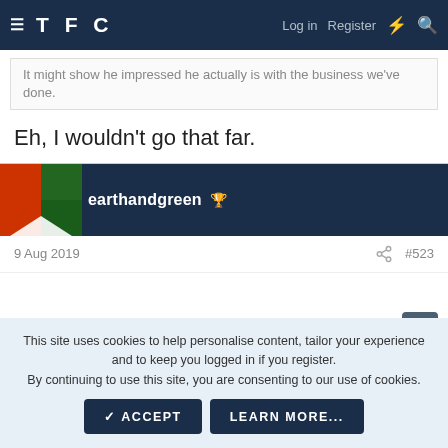TFC — Log in  Register
It might show he impressed he actually is with the business we've done.
Eh, I wouldn't go that far.
earthandgreen
9 Aug 2019  #523
This site uses cookies to help personalise content, tailor your experience and to keep you logged in if you register.
By continuing to use this site, you are consenting to our use of cookies.